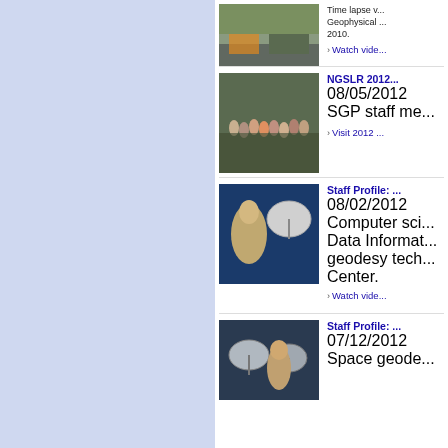[Figure (photo): Thumbnail image of a road or construction site scene (partial, top of page)]
Time lapse v... Geophysical ... 2010.
Watch vide...
[Figure (photo): Group photo of SGP staff members outdoors]
NGSLR 2012...
08/05/2012
SGP staff me...
Visit 2012 ...
[Figure (photo): Video thumbnail of a woman in front of a satellite dish]
Staff Profile: ...
08/02/2012
Computer sci... Data Informat... geodesy tech... Center.
Watch vide...
[Figure (photo): Video thumbnail showing a man in front of satellite dish equipment]
Staff Profile: ...
07/12/2012
Space geode...